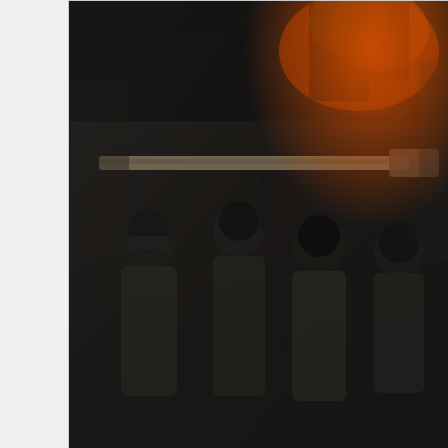[Figure (photo): Armed masked fighters in military/camouflage gear holding weapons including what appears to be an RPG launcher, with fire/flames visible in the background. Stylized/filtered photograph.]
Photo by AK Rockefeller (CC BY-SA 2.0)
It has also become the favorite past time of these insurgents to storm Police Stations of their choosing, open fire, and free prisoners at will. More times than not they are successful because they have the element of surprise, but also because they have superior firepower. They’ve been said to appear, sporting weapons like RPG’s, grenades, and pump action rifles – shouldn’t a hatred for Western education spread to the products of that education?
“Where is my refuge, where am I safe? Not in my matchbox